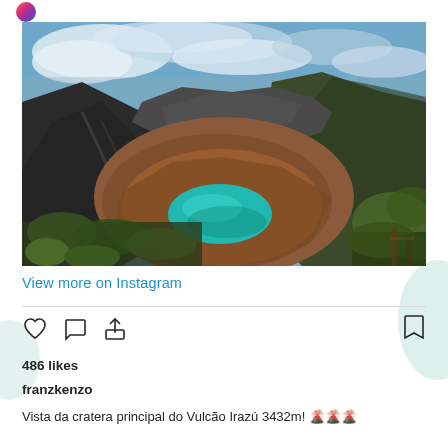[Figure (photo): Panoramic photo of the main crater of Volcán Irazú, showing a turquoise crater lake surrounded by dark volcanic slopes and some green vegetation, with blue sky and clouds above.]
View more on Instagram
486 likes
franzkenzo
Vista da cratera principal do Vulcão Irazú  3432m! 🌋🌋🌋